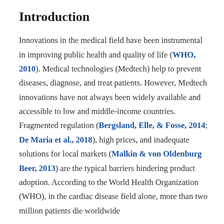Introduction
Innovations in the medical field have been instrumental in improving public health and quality of life (WHO, 2010). Medical technologies (Medtech) help to prevent diseases, diagnose, and treat patients. However, Medtech innovations have not always been widely available and accessible to low and middle-income countries. Fragmented regulation (Bergsland, Elle, & Fosse, 2014; De Maria et al., 2018), high prices, and inadequate solutions for local markets (Malkin & von Oldenburg Beer, 2013) are the typical barriers hindering product adoption. According to the World Health Organization (WHO), in the cardiac disease field alone, more than two million patients die worldwide